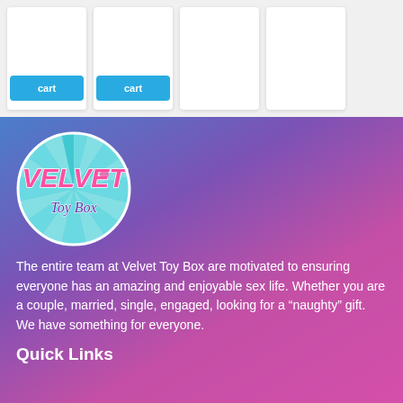[Figure (other): Four product cards with 'Add to cart' buttons, first two showing blue buttons with 'cart' text visible, on a light gray background]
[Figure (logo): Velvet Toy Box circular logo with teal/cyan sunburst background and pink script 'VELVET' text with 'Toy Box' underneath]
The entire team at Velvet Toy Box are motivated to ensuring everyone has an amazing and enjoyable sex life. Whether you are a couple, married, single, engaged, looking for a “naughty” gift. We have something for everyone.
Quick Links